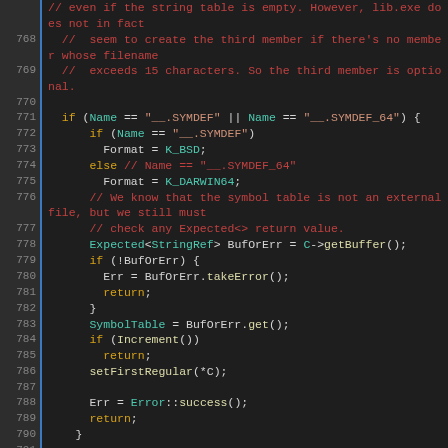[Figure (screenshot): Source code viewer showing C++ code lines 767-794 with syntax highlighting. Line numbers in grey on left, green vertical bar separator, code in dark theme with red comments, orange keywords, teal identifiers, and white/grey plain text.]